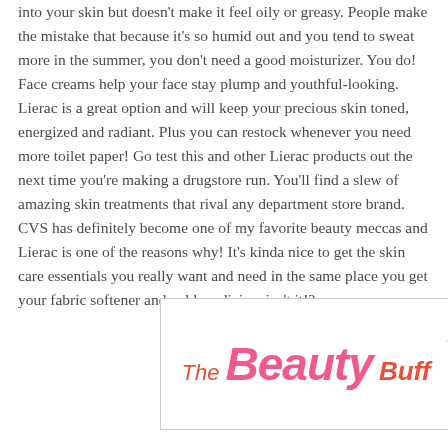into your skin but doesn't make it feel oily or greasy. People make the mistake that because it's so humid out and you tend to sweat more in the summer, you don't need a good moisturizer. You do! Face creams help your face stay plump and youthful-looking. Lierac is a great option and will keep your precious skin toned, energized and radiant. Plus you can restock whenever you need more toilet paper! Go test this and other Lierac products out the next time you're making a drugstore run. You'll find a slew of amazing skin treatments that rival any department store brand. CVS has definitely become one of my favorite beauty meccas and Lierac is one of the reasons why! It's kinda nice to get the skin care essentials you really want and need in the same place you get your fabric softener and cold medicine, isn't it!?
[Figure (logo): The Beauty Buff logo — stylized cursive text with 'The' in orange-red italic, 'Beauty' in large bold pink script, 'Buff' in orange-red bold italic, and a decorative star/sparkle to the right.]